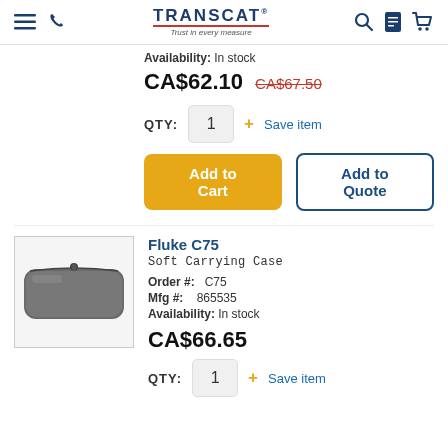TRANSCAT — Trust in every measure
Availability: In stock
CA$62.10  CA$67.50
QTY: 1  + Save item
Add to Cart  Add to Quote
[Figure (photo): Fluke C75 soft carrying case product image — dark grey zippered case]
Fluke C75
Soft Carrying Case
Order #: C75
Mfg #: 865535
Availability: In stock
CA$66.65
QTY: 1  + Save item